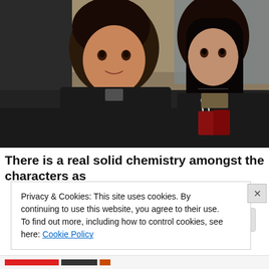[Figure (photo): A man with dark hair in a dark jacket looking toward the camera, seated next to a woman with long dark hair, in what appears to be a restaurant or bar setting with decorative background.]
There is a real solid chemistry amongst the characters as
Privacy & Cookies: This site uses cookies. By continuing to use this website, you agree to their use.
To find out more, including how to control cookies, see here: Cookie Policy